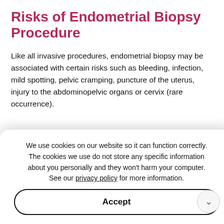Risks of Endometrial Biopsy Procedure
Like all invasive procedures, endometrial biopsy may be associated with certain risks such as bleeding, infection, mild spotting, pelvic cramping, puncture of the uterus, injury to the abdominopelvic organs or cervix (rare occurrence).
[Figure (other): Services panel with dark pink/maroon header reading 'SERVICES' and list items including Gynecologic Procedures and Wellness Exam & Women's Health]
We use cookies on our website so it can function correctly. The cookies we use do not store any specific information about you personally and they won't harm your computer. See our privacy policy for more information.
Accept